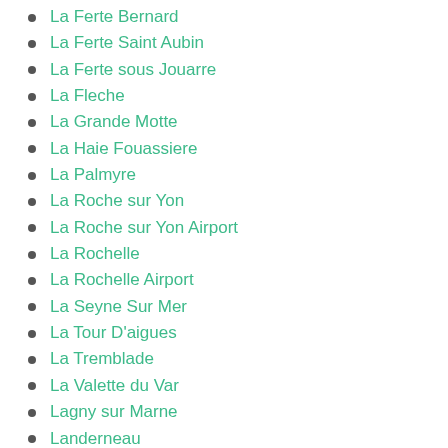La Ferte Bernard
La Ferte Saint Aubin
La Ferte sous Jouarre
La Fleche
La Grande Motte
La Haie Fouassiere
La Palmyre
La Roche sur Yon
La Roche sur Yon Airport
La Rochelle
La Rochelle Airport
La Seyne Sur Mer
La Tour D'aigues
La Tremblade
La Valette du Var
Lagny sur Marne
Landerneau